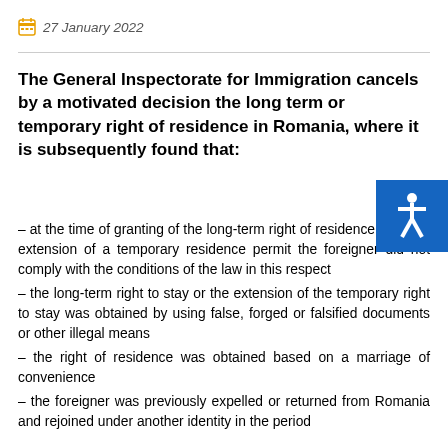27 January 2022
The General Inspectorate for Immigration cancels by a motivated decision the long term or temporary right of residence in Romania, where it is subsequently found that:
– at the time of granting of the long-term right of residence or of the extension of a temporary residence permit the foreigner did not comply with the conditions of the law in this respect
– the long-term right to stay or the extension of the temporary right to stay was obtained by using false, forged or falsified documents or other illegal means
– the right of residence was obtained based on a marriage of convenience
– the foreigner was previously expelled or returned from Romania and rejoined under another identity in the period